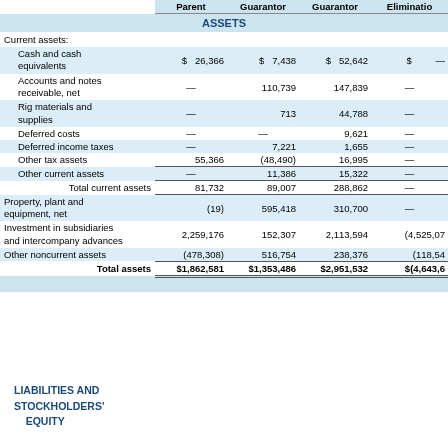|  | Parent | Guarantor | Guarantor | Eliminatio |
| --- | --- | --- | --- | --- |
| ASSETS |  |  |  |  |
| Current assets: |  |  |  |  |
| Cash and cash equivalents | $ 26,366 | $ 7,438 | $ 52,642 | $ — |
| Accounts and notes receivable, net | — | 110,739 | 147,839 | — |
| Rig materials and supplies | — | 713 | 44,788 | — |
| Deferred costs | — | — | 9,621 | — |
| Deferred income taxes | — | 7,221 | 1,655 | — |
| Other tax assets | 55,366 | (48,490) | 16,995 | — |
| Other current assets | — | 11,386 | 15,322 | — |
| Total current assets | 81,732 | 89,007 | 288,862 | — |
| Property, plant and equipment, net | (19) | 595,418 | 310,700 | — |
| Investment in subsidiaries and intercompany advances | 2,259,176 | 152,307 | 2,113,594 | (4,525,07 |
| Other noncurrent assets | (478,308) | 516,754 | 238,376 | (118,54 |
| Total assets | $1,862,581 | $1,353,486 | $2,951,532 | $(4,643,6 |
| LIABILITIES AND STOCKHOLDERS' EQUITY |  |  |  |  |